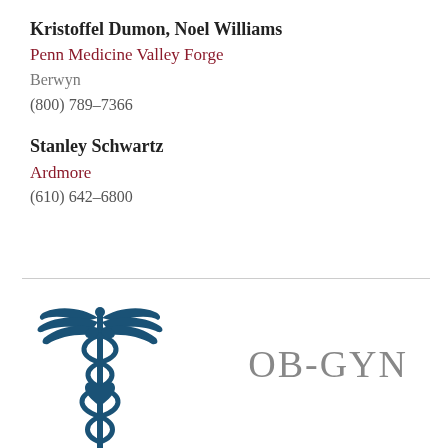Kristoffel Dumon, Noel Williams
Penn Medicine Valley Forge
Berwyn
(800) 789-7366
Stanley Schwartz
Ardmore
(610) 642-6800
[Figure (illustration): Blue caduceus medical symbol with wings]
OB-GYN